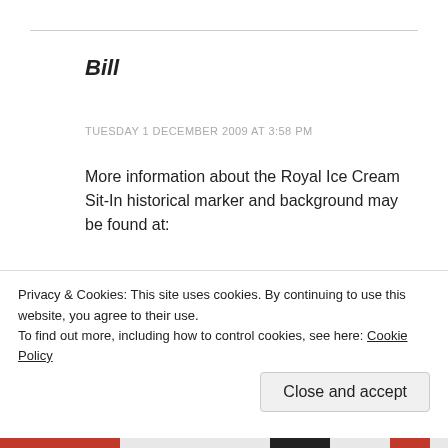Bill
TUESDAY 1 DECEMBER 2009 AT 3:58 PM
More information about the Royal Ice Cream Sit-In historical marker and background may be found at:
http://www.stoppingpoints.com/north-carolina/sights.cgi?marker=Royal+Ice+Cream+Sit-
Privacy & Cookies: This site uses cookies. By continuing to use this website, you agree to their use.
To find out more, including how to control cookies, see here: Cookie Policy
Close and accept